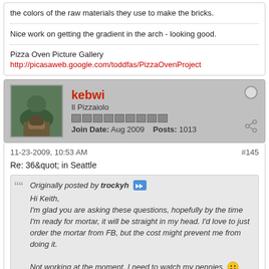the colors of the raw materials they use to make the bricks.
Nice work on getting the gradient in the arch - looking good.
Pizza Oven Picture Gallery
http://picasaweb.google.com/toddfas/PizzaOvenProject
kebwi
Il Pizzaiolo
Join Date: Aug 2009   Posts: 1013
11-23-2009, 10:53 AM
#145
Re: 36&quot; in Seattle
Originally posted by trockyh
Hi Keith,
I'm glad you are asking these questions, hopefully by the time I'm ready for mortar, it will be straight in my head. I'd love to just order the mortar from FB, but the cost might prevent me from doing it.
Not working at the moment, I need to watch my pennies.
Tom